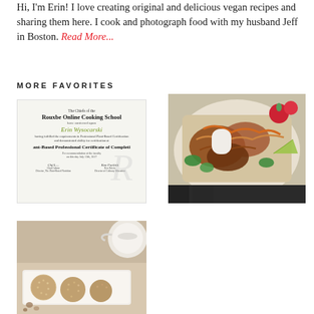Hi, I'm Erin! I love creating original and delicious vegan recipes and sharing them here. I cook and photograph food with my husband Jeff in Boston. Read More...
MORE FAVORITES
[Figure (photo): Certificate from Rouxbe Online Cooking School for Erin Wysocarski - Plant-Based Professional Certificate of Completion]
[Figure (photo): Overhead photo of vegan tacos/mushroom dish in a white bowl with radishes, cilantro, and lime]
[Figure (photo): Photo of sugar-coated energy balls or truffles on a white tray with a teapot in background]